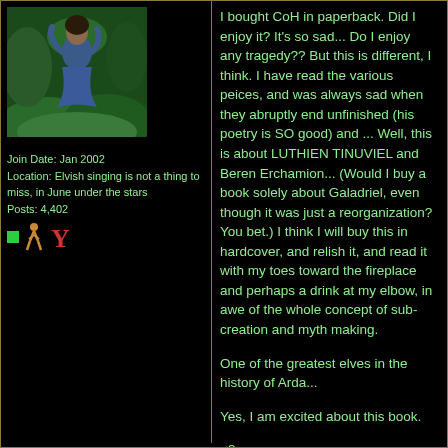[Figure (photo): Avatar photo of a person in blue clothing outdoors with green background]
Join Date: Jan 2002
Location: Elvish singing is not a thing to miss, in June under the stars
Posts: 4,402
I bought CoH in paperback. Did I enjoy it? It's so sad... Do I enjoy any tragedy?? But this is different, I think. I have read the various peices, and was always sad when they abruptly end unfinished (his poetry is SO good) and ... Well, this is about LUTHIEN TINUVIEL and Beren Erchamion... (Would I buy a book solely about Galadriel, even though it was just a reorganization? You bet.) I think I will buy this in hardcover, and relish it, and read it with my toes toward the fireplace and perhaps a drink at my elbow, in awe of the whole concept of sub-creation and myth making.

One of the greatest elves in the history of Arda...

Yes, I am excited about this book.

<3